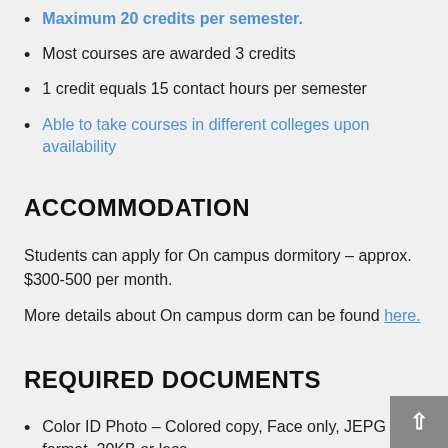Maximum 20 credits per semester.
Most courses are awarded 3 credits
1 credit equals 15 contact hours per semester
Able to take courses in different colleges upon availability
ACCOMMODATION
Students can apply for On campus dormitory – approx. $300-500 per month.
More details about On campus dorm can be found here.
REQUIRED DOCUMENTS
Color ID Photo – Colored copy, Face only, JEPG format, 20KB or less
Passport – should be valid until 6 months or longer after the end date of program
Official Academic Transcript – English version with University